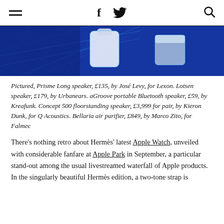≡  f  🐦  🔍
[Figure (photo): Hero image of modern audio/home products on blue background, showing futuristic speaker shapes with blue neon grid lighting]
Pictured, Prisme Long speaker, £135, by José Levy, for Lexon. Lotsen speaker, £179, by Urbanears. aGroove portable Bluetooth speaker, £59, by Kreafunk. Concept 500 floorstanding speaker, £3,999 for pair, by Kieron Dunk, for Q Acoustics. Bellaria air purifier, £849, by Marco Zito, for Falmec
There's nothing retro about Hermès' latest Apple Watch, unveiled with considerable fanfare at Apple Park in September, a particular stand-out among the usual livestreamed waterfall of Apple products. In the singularly beautiful Hermès edition, a two-tone strap is